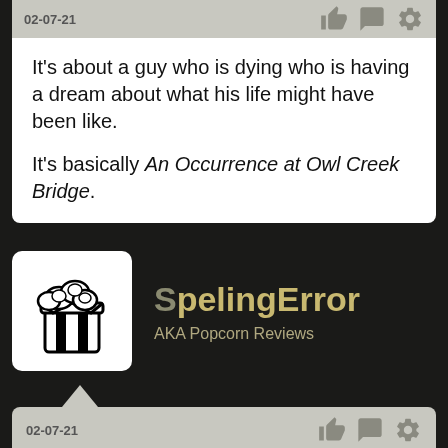02-07-21
It's about a guy who is dying who is having a dream about what his life might have been like.

It's basically An Occurrence at Owl Creek Bridge.
[Figure (illustration): Popcorn bucket logo — black and white cartoon popcorn box with popcorn spilling out, rounded square frame]
SpelingError
AKA Popcorn Reviews
02-07-21
It's been a while since I've seen Jacob's Ladder, but I remember enjoying it quite a lot. The only thing I'm confused about is...